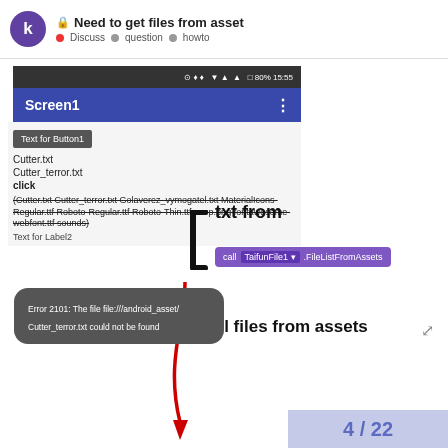Need to get files from asset — Discuss · question · howto
[Figure (screenshot): Android app screenshot showing Screen1 with Text for Button1, files Cutter.txt and Cutter_terror.txt listed, plus annotation arrows pointing to 'txt from' with a call TaifunFile1.FileListFromAssets block and 'all files from assets' label, and a red arrow pointing to an error toast: Error 2101: The file file:///android_asset/Cutter_terror.txt could not be found]
4 / 22